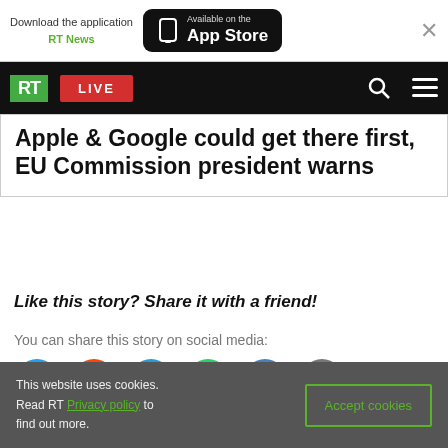[Figure (screenshot): App download banner with RT News logo and App Store button, and a nav bar with RT logo, LIVE button, search and menu icons]
Apple & Google could get there first, EU Commission president warns
Like this story? Share it with a friend!
You can share this story on social media:
[Figure (infographic): Social sharing icons: Twitter (blue bird), Reddit (orange), Telegram (blue), WhatsApp (green), VK (dark blue), Email (grey), Link (grey)]
This website uses cookies. Read RT Privacy policy to find out more.